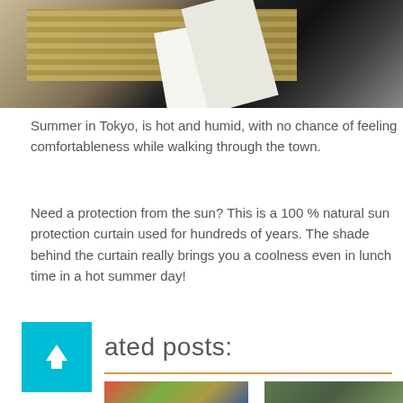[Figure (photo): Aerial or close-up view of a straw/reed mat or traditional Japanese sun protection curtain (sudare) on dark asphalt with a white stripe, shot from above.]
Summer in Tokyo, is hot and humid, with no chance of feeling comfortableness while walking through the town.
Need a protection from the sun? This is a 100 % natural sun protection curtain used for hundreds of years. The shade behind the curtain really brings you a coolness even in lunch time in a hot summer day!
ated posts:
[Figure (photo): Thumbnail image of a colorful market scene with vegetables and Japanese text signs.]
[Figure (photo): Thumbnail image of a green forested or garden scene.]